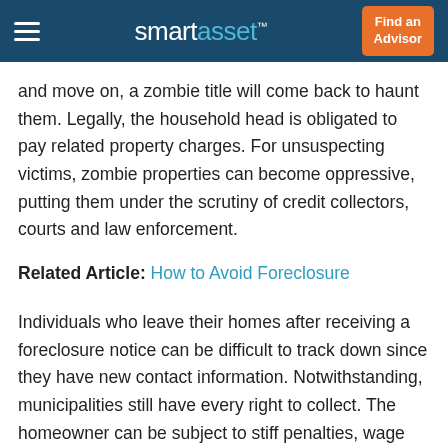smartasset™ | Find an Advisor
and move on, a zombie title will come back to haunt them. Legally, the household head is obligated to pay related property charges. For unsuspecting victims, zombie properties can become oppressive, putting them under the scrutiny of credit collectors, courts and law enforcement.
Related Article: How to Avoid Foreclosure
Individuals who leave their homes after receiving a foreclosure notice can be difficult to track down since they have new contact information. Notwithstanding, municipalities still have every right to collect. The homeowner can be subject to stiff penalties, wage garnishments, even threats of jail time for failure to ensure the zombie is within zoning compliance. A county can also